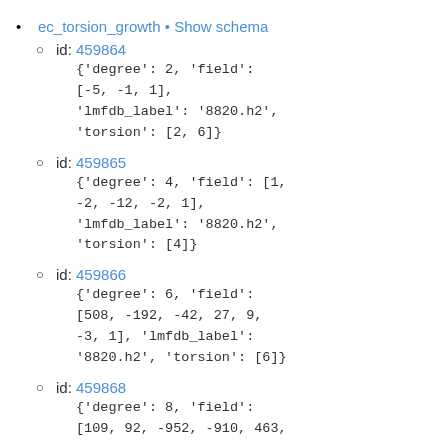ec_torsion_growth • Show schema
id: 459864
{'degree': 2, 'field': [-5, -1, 1], 'lmfdb_label': '8820.h2', 'torsion': [2, 6]}
id: 459865
{'degree': 4, 'field': [1, -2, -12, -2, 1], 'lmfdb_label': '8820.h2', 'torsion': [4]}
id: 459866
{'degree': 6, 'field': [508, -192, -42, 27, 9, -3, 1], 'lmfdb_label': '8820.h2', 'torsion': [6]}
id: 459868
{'degree': 8, 'field': [109, 92, -952, -910, 463,